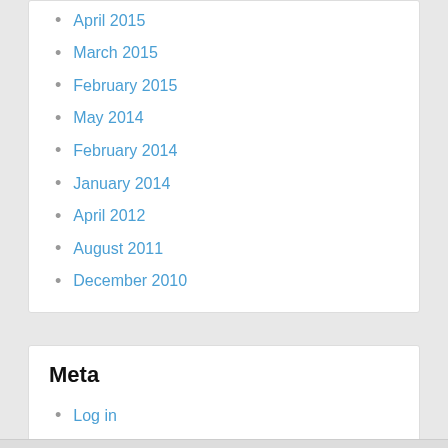April 2015
March 2015
February 2015
May 2014
February 2014
January 2014
April 2012
August 2011
December 2010
Meta
Log in
Entries feed
Comments feed
WordPress.org